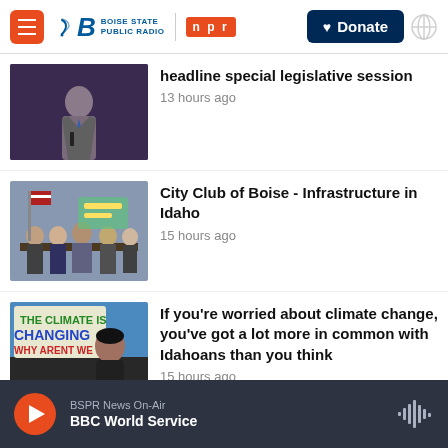Boise State Public Radio | NPR | Donate
[Figure (screenshot): Thumbnail of a man in a suit speaking at a podium with a microphone, dark purple curtain background]
headline special legislative session
13 hours ago
[Figure (screenshot): Thumbnail of a panel discussion with several people seated at a table with US flags in the background]
City Club of Boise - Infrastructure in Idaho
15 hours ago
[Figure (screenshot): Thumbnail of a climate protest with signs reading THE CLIMATE IS CHANGING WHY ARENT WE, with a woman holding a sign]
If you’re worried about climate change, you’ve got a lot more in common with Idahoans than you think
15 hours ago
BSPR News On-Air | BBC World Service